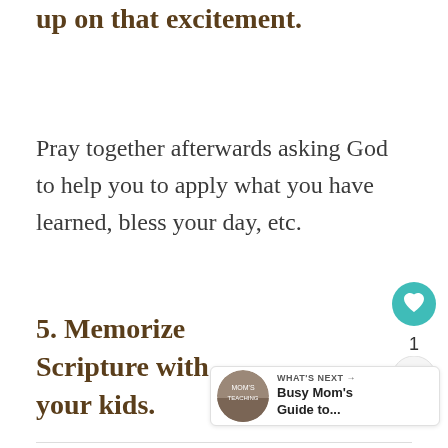up on that excitement.
Pray together afterwards asking God to help you to apply what you have learned, bless your day, etc.
5. Memorize Scripture with your kids.
[Figure (other): Heart favorite button (teal circle with heart icon), count of 1, and share button]
[Figure (other): What's Next panel with thumbnail image and text: Busy Mom's Guide to...]